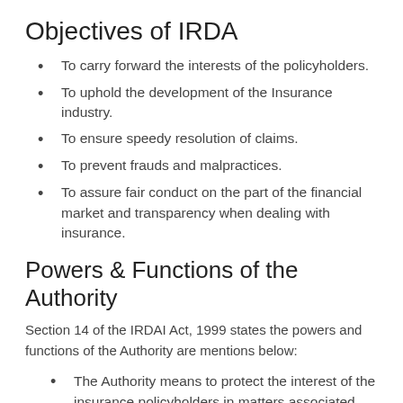Objectives of IRDA
To carry forward the interests of the policyholders.
To uphold the development of the Insurance industry.
To ensure speedy resolution of claims.
To prevent frauds and malpractices.
To assure fair conduct on the part of the financial market and transparency when dealing with insurance.
Powers & Functions of the Authority
Section 14 of the IRDAI Act, 1999 states the powers and functions of the Authority are mentions below:
The Authority means to protect the interest of the insurance policyholders in matters associated with the surrender value of the policy, settlement of insurance